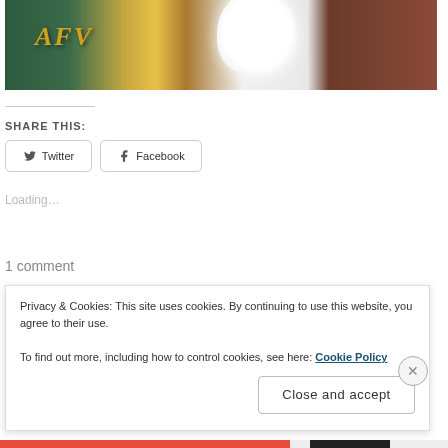[Figure (photo): A white fluffy dog/pet in front of an AFV (America's Funniest Videos) sign, with a dark reddish-brown couch/background visible]
SHARE THIS:
Twitter
Facebook
Loading...
1 comment
Privacy & Cookies: This site uses cookies. By continuing to use this website, you agree to their use.
To find out more, including how to control cookies, see here: Cookie Policy
Close and accept